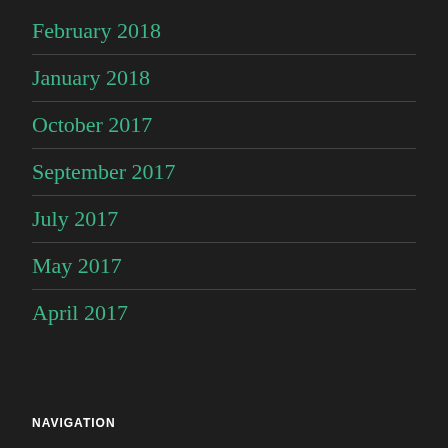February 2018
January 2018
October 2017
September 2017
July 2017
May 2017
April 2017
NAVIGATION